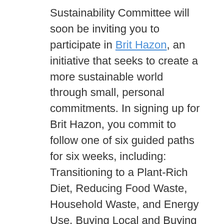Sustainability Committee will soon be inviting you to participate in Brit Hazon, an initiative that seeks to create a more sustainable world through small, personal commitments. In signing up for Brit Hazon, you commit to follow one of six guided paths for six weeks, including: Transitioning to a Plant-Rich Diet, Reducing Food Waste, Household Waste, and Energy Use, Buying Local and Buying Less. I've signed up for «Bars not Bottles», which means I'll be seeking out more sustainable packaging for my cleaning products.
In the face of rising temperatures, wildfires and hurricanes, this feels like such an infinitesmally small commitment, and one that might still be difficult to fulfill. But as we are told in Pirke Avot